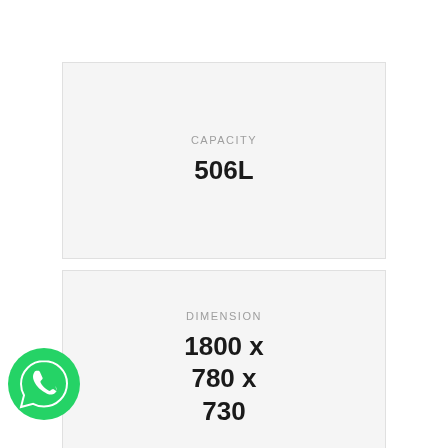CAPACITY
506L
DIMENSION
1800 x 780 x 730
MAIN TECHNOLOGY
[Figure (logo): WhatsApp chat button icon, green circle with white phone/chat icon]